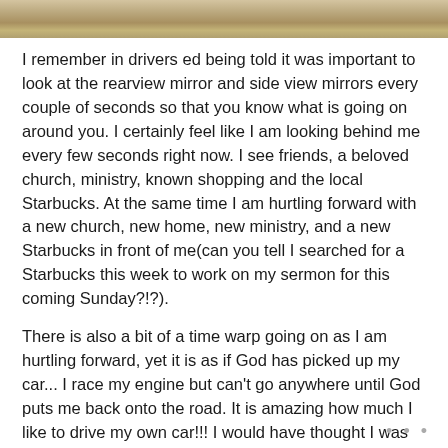[Figure (photo): Partial photo strip at the top of the page showing an outdoor scene, cropped to a thin horizontal band.]
I remember in drivers ed being told it was important to look at the rearview mirror and side view mirrors every couple of seconds so that you know what is going on around you. I certainly feel like I am looking behind me every few seconds right now. I see friends, a beloved church, ministry, known shopping and the local Starbucks. At the same time I am hurtling forward with a new church, new home, new ministry, and a new Starbucks in front of me(can you tell I searched for a Starbucks this week to work on my sermon for this coming Sunday?!?).
There is also a bit of a time warp going on as I am hurtling forward, yet it is as if God has picked up my car... I race my engine but can't go anywhere until God puts me back onto the road. It is amazing how much I like to drive my own car!!! I would have thought I was much more patient
• • •